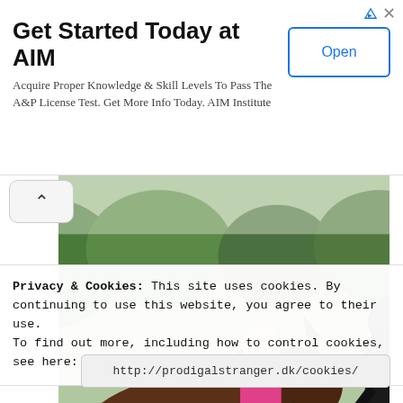Get Started Today at AIM
Acquire Proper Knowledge & Skill Levels To Pass The A&P License Test. Get More Info Today. AIM Institute
[Figure (photo): Outdoor photo of a pony/small horse near a large pink ball, with a person in black jacket and red pants holding a lead rope, other people in background, green field, trees, parking sign visible. Watermark: prodigalstranger.dk]
Privacy & Cookies: This site uses cookies. By continuing to use this website, you agree to their use.
To find out more, including how to control cookies, see here: Cookie Policy
http://prodigalstranger.dk/cookies/